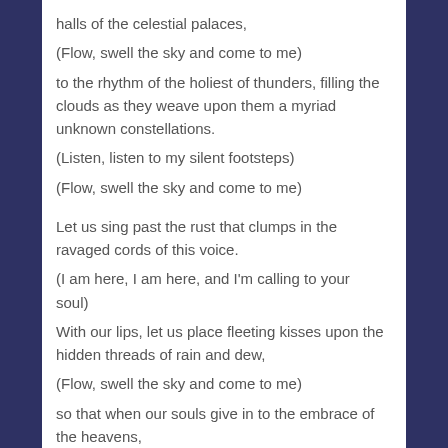halls of the celestial palaces,
(Flow, swell the sky and come to me)
to the rhythm of the holiest of thunders, filling the clouds as they weave upon them a myriad unknown constellations.
(Listen, listen to my silent footsteps)
(Flow, swell the sky and come to me)
Let us sing past the rust that clumps in the ravaged cords of this voice.
(I am here, I am here, and I'm calling to your soul)
With our lips, let us place fleeting kisses upon the hidden threads of rain and dew,
(Flow, swell the sky and come to me)
so that when our souls give in to the embrace of the heavens,
(Join your voice with mine, as one)